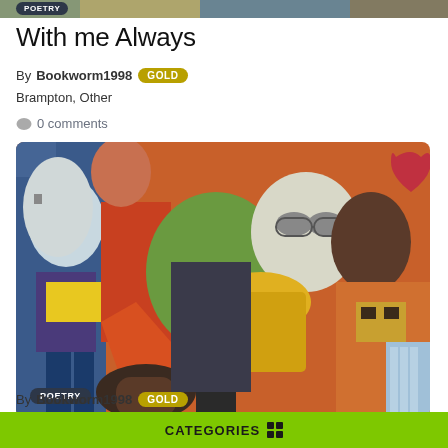[Figure (photo): Top cropped portion of a colorful artwork image, partially visible]
POETRY
With me Always
By Bookworm1998 GOLD
Brampton, Other
0 comments
[Figure (photo): Colorful cubist-style painting showing multiple stylized faces and figures in bold primary colors with a POETRY badge overlay]
Colours of the World
By Bookworm1998 GOLD
CATEGORIES